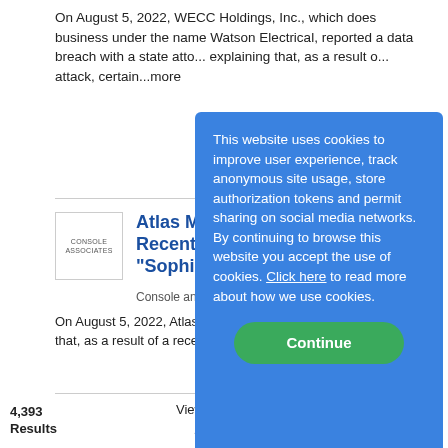On August 5, 2022, WECC Holdings, Inc., which does business under the name Watson Electrical, reported a data breach with a state atto... explaining that, as a result o... attack, certain...more
[Figure (logo): Console and Associates logo — small rectangular logo with text]
Atlas MedStaff Recent Data Bre... "Sophisticated C...
Console and Associates, P.C...
On August 5, 2022, Atlas M... breach with a state attorney ... that, as a result of a recent c... data ended up in the hands o...
This website uses cookies to improve user experience, track anonymous site usage, store authorization tokens and permit sharing on social media networks. By continuing to browse this website you accept the use of cookies. Click here to read more about how we use cookies.
4,393 Results
View per page / 25
176